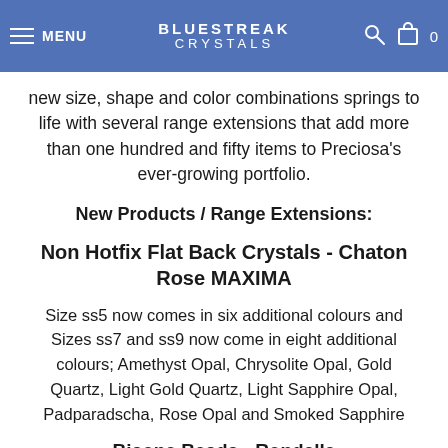MENU | BLUESTREAK CRYSTALS | 0
new size, shape and color combinations springs to life with several range extensions that add more than one hundred and fifty items to Preciosa's ever-growing portfolio.
New Products / Range Extensions:
Non Hotfix Flat Back Crystals - Chaton Rose MAXIMA
Size ss5 now comes in six additional colours and Sizes ss7 and ss9 now come in eight additional colours; Amethyst Opal, Chrysolite Opal, Gold Quartz, Light Gold Quartz, Light Sapphire Opal, Padparadscha, Rose Opal and Smoked Sapphire
Bicone Beads - Rondelle
Caribbean Sea, Caribbean Sea AB, Limecicle, and